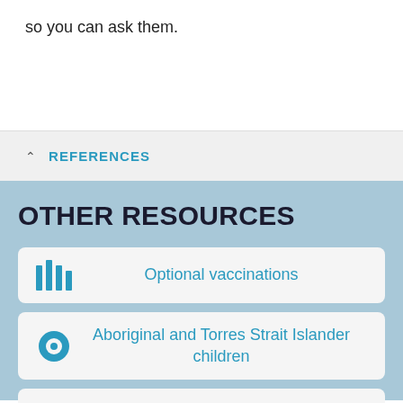so you can ask them.
REFERENCES
OTHER RESOURCES
Optional vaccinations
Aboriginal and Torres Strait Islander children
Common reactions